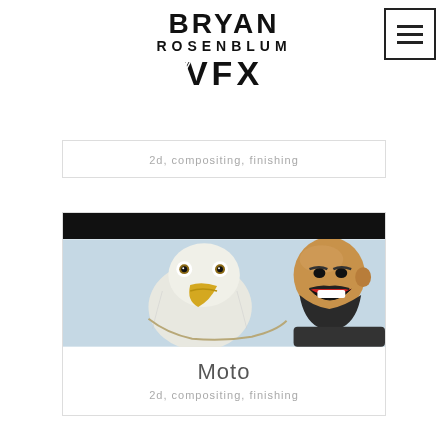[Figure (logo): Hamburger menu button (three horizontal bars) in top-right corner inside a square border]
[Figure (logo): Bryan Rosenblum VFX logo: BRYAN in bold large text, ROSENBLUM in small spaced caps, VFX in large bold text with stylized letterforms]
2d, compositing, finishing
[Figure (photo): Photo of an eagle (white and golden feathers, large yellow beak, forward-facing eyes) beside a bald bearded man laughing, on a light blue-grey background, with a black bar above]
Moto
2d, compositing, finishing